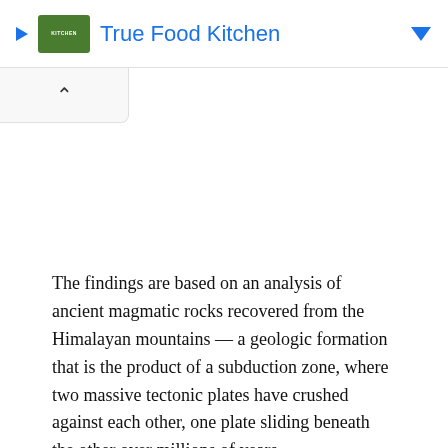True Food Kitchen
The findings are based on an analysis of ancient magmatic rocks recovered from the Himalayan mountains — a geologic formation that is the product of a subduction zone, where two massive tectonic plates have crushed against each other, one plate sliding beneath the other over millions of years.
Subduction zones can be found around the world. As